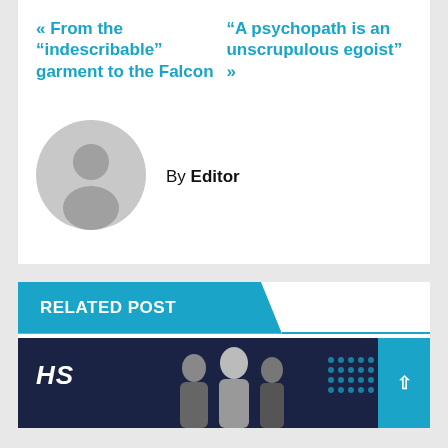« From the "indescribable" garment to the Falcon
"A psychopath is an unscrupulous egoist" »
By Editor
[Figure (illustration): Generic user avatar circle with silhouette]
RELATED POST
[Figure (photo): Thumbnail image with HS logo on dark background, people visible, teal corner with up arrow and dot grid]